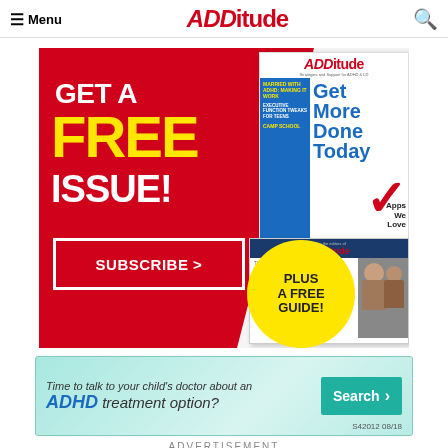≡ Menu  ADDitude  🔍
[Figure (illustration): ADDitude magazine subscription advertisement with red background showing 'GET A FREE ISSUE!' text in white and yellow, a SUBSCRIBE button, a yellow circle saying 'PLUS A FREE GUIDE!', magazine cover showing 'Get More Done Today' with checkmark, and a guide book 'The ADDitude Guide to Treating ADHD Naturally']
[Figure (illustration): Pharmaceutical advertisement with teal/mint background reading 'Time to talk to your child's doctor about an ADHD treatment option?' with a teal Search button and reference S42012 08/18]
ADVERTISEMENT